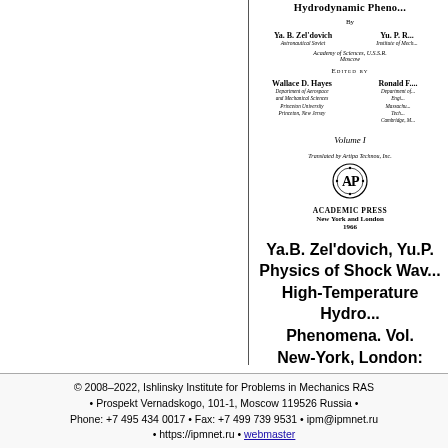Hydrodynamic Pheno...
By
Ya. B. Zel'dovich
Astronautical Soviet

Yu. P. R...
Institute of Mech...
Academy of Sciences, U.S.S.R.
Moscow
Edited by
Wallace D. Hayes
Department of Aerospace and Mechanical Sciences
Princeton University
Princeton, New Jersey

Ronald F. ...
Department of...
Engi...
Massachuse...
Tech...
Cambridge, M...
Volume I
Translated by Artipa Technou, Inc.
[Figure (logo): Academic Press AP logo — circular design with AP letters]
ACADEMIC PRESS
New York and London
1966
Ya.B. Zel'dovich, Yu.P.
Physics of Shock Wav...
High-Temperature Hydro...
Phenomena. Vol.
New-York, London: Acade...
1966. 464 p.
© 2008–2022, Ishlinsky Institute for Problems in Mechanics RAS • Prospekt Vernadskogo, 101-1, Moscow 119526 Russia • Phone: +7 495 434 0017 • Fax: +7 499 739 9531 • ipm@ipmnet.ru • https://ipmnet.ru • webmaster